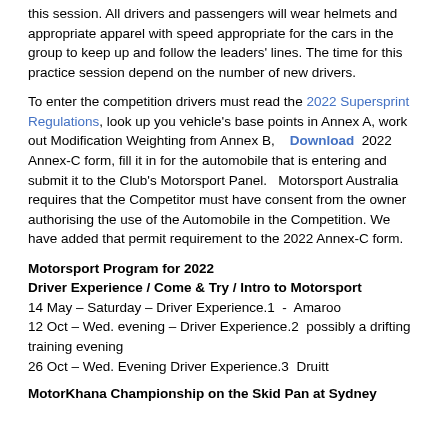this session. All drivers and passengers will wear helmets and appropriate apparel with speed appropriate for the cars in the group to keep up and follow the leaders' lines. The time for this practice session depend on the number of new drivers.
To enter the competition drivers must read the 2022 Supersprint Regulations, look up you vehicle's base points in Annex A, work out Modification Weighting from Annex B, Download 2022 Annex-C form, fill it in for the automobile that is entering and submit it to the Club's Motorsport Panel. Motorsport Australia requires that the Competitor must have consent from the owner authorising the use of the Automobile in the Competition. We have added that permit requirement to the 2022 Annex-C form.
Motorsport Program for 2022
Driver Experience / Come & Try / Intro to Motorsport
14 May – Saturday – Driver Experience.1  -  Amaroo
12 Oct – Wed. evening – Driver Experience.2  possibly a drifting training evening
26 Oct – Wed. Evening Driver Experience.3  Druitt
MotorKhana Championship on the Skid Pan at Sydney